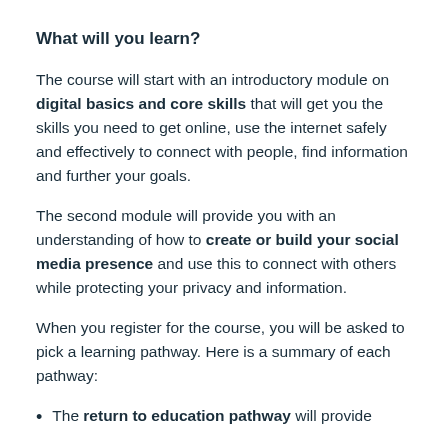What will you learn?
The course will start with an introductory module on digital basics and core skills that will get you the skills you need to get online, use the internet safely and effectively to connect with people, find information and further your goals.
The second module will provide you with an understanding of how to create or build your social media presence and use this to connect with others while protecting your privacy and information.
When you register for the course, you will be asked to pick a learning pathway. Here is a summary of each pathway:
The return to education pathway will provide